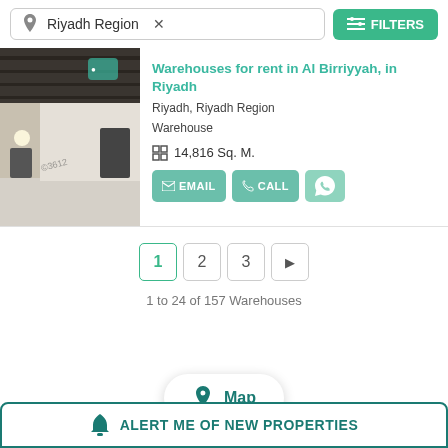Riyadh Region ×
FILTERS
Warehouses for rent in Al Birriyyah, in Riyadh
Riyadh, Riyadh Region
Warehouse
14,816 Sq. M.
EMAIL
CALL
1 to 24 of 157 Warehouses
Map
ALERT ME OF NEW PROPERTIES